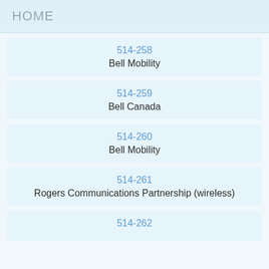HOME
514-258
Bell Mobility
514-259
Bell Canada
514-260
Bell Mobility
514-261
Rogers Communications Partnership (wireless)
514-262